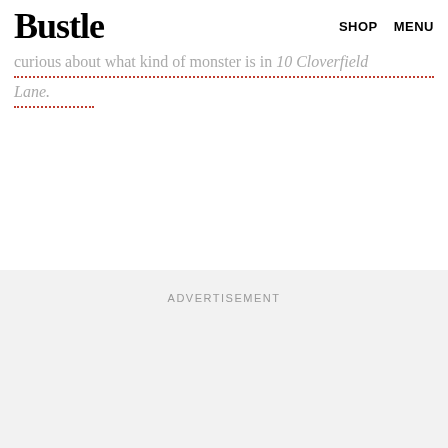Bustle  SHOP  MENU
unique, as the style and feeling of an original was, but rather than its predecessor, fans are extremely curious about what kind of monster is in 10 Cloverfield Lane.
ADVERTISEMENT